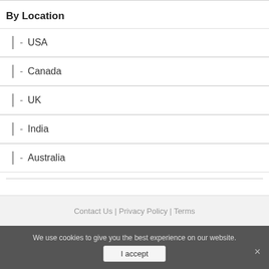By Location
- USA
- Canada
- UK
- India
- Australia
Contact Us | Privacy Policy | Terms
We use cookies to give you the best experience on our website.
I accept